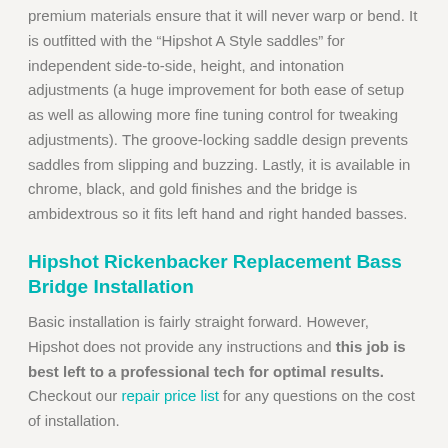premium materials ensure that it will never warp or bend. It is outfitted with the “Hipshot A Style saddles” for independent side-to-side, height, and intonation adjustments (a huge improvement for both ease of setup as well as allowing more fine tuning control for tweaking adjustments). The groove-locking saddle design prevents saddles from slipping and buzzing. Lastly, it is available in chrome, black, and gold finishes and the bridge is ambidextrous so it fits left hand and right handed basses.
Hipshot Rickenbacker Replacement Bass Bridge Installation
Basic installation is fairly straight forward. However, Hipshot does not provide any instructions and this job is best left to a professional tech for optimal results. Checkout our repair price list for any questions on the cost of installation.